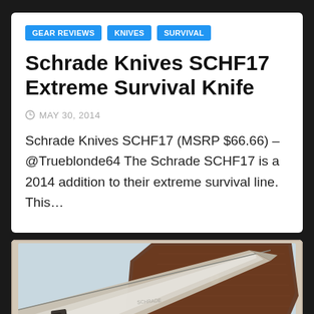GEAR REVIEWS
KNIVES
SURVIVAL
Schrade Knives SCHF17 Extreme Survival Knife
MAY 30, 2014
Schrade Knives SCHF17 (MSRP $66.66) – @Trueblonde64 The Schrade SCHF17 is a 2014 addition to their extreme survival line. This…
[Figure (photo): A survival knife with a blade and brown nylon/textile sheath, photographed from above on a light background.]